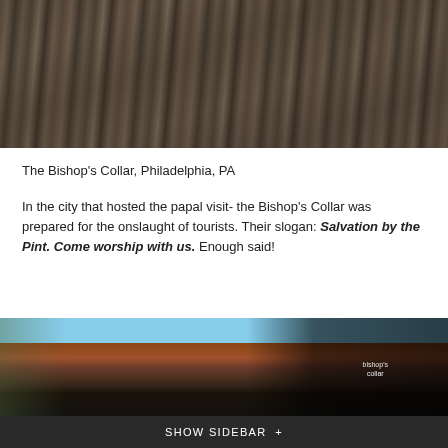[Figure (photo): Close-up photo of dark brown/grey draped fabric or robes, showing folds and texture]
The Bishop's Collar, Philadelphia, PA
In the city that hosted the papal visit- the Bishop's Collar was prepared for the onslaught of tourists. Their slogan: Salvation by the Pint. Come worship with us. Enough said!
[Figure (photo): Exterior photo of The Bishop's Collar bar in Philadelphia, PA, showing a brick building with a black awning bearing the 'bishop's collar' name, blue sky and bare trees visible]
SHOW SIDEBAR +